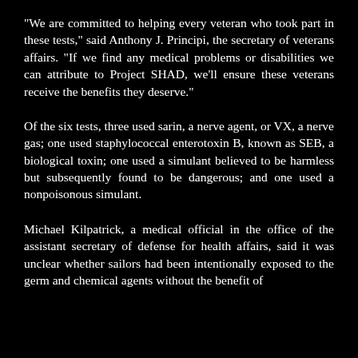"We are committed to helping every veteran who took part in these tests," said Anthony J. Principi, the secretary of veterans affairs. "If we find any medical problems or disabilities we can attribute to Project SHAD, we'll ensure these veterans receive the benefits they deserve."
Of the six tests, three used sarin, a nerve agent, or VX, a nerve gas; one used staphylococcal enterotoxin B, known as SEB, a biological toxin; one used a simulant believed to be harmless but subsequently found to be dangerous; and one used a nonpoisonous simulant.
Michael Kilpatrick, a medical official in the office of the assistant secretary of defense for health affairs, said it was unclear whether sailors had been intentionally exposed to the germ and chemical agents without the benefit of